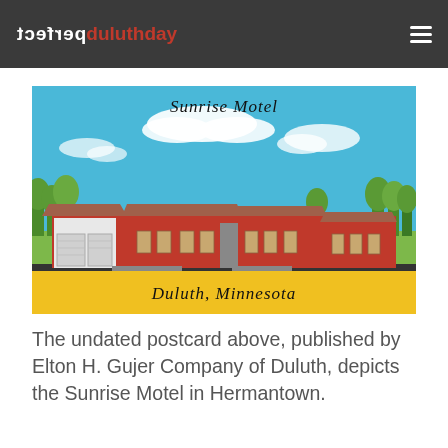perfect duluthday
[Figure (illustration): Vintage postcard illustration of the Sunrise Motel in Duluth, Minnesota. Shows a long, low red motel building with a white garage door section, green trees in the background, blue sky with white clouds, and a yellow banner at the bottom reading 'Duluth, Minnesota'. Text at top reads 'Sunrise Motel' in script.]
The undated postcard above, published by Elton H. Gujer Company of Duluth, depicts the Sunrise Motel in Hermantown.